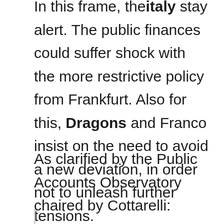In this frame, the Italy stay alert. The public finances could suffer shock with the more restrictive policy from Frankfurt. Also for this, Dragons and Franco insist on the need to avoid a new deviation, in order not to unleash further tensions.
As clarified by the Public Accounts Observatory chaired by Cottarelli: